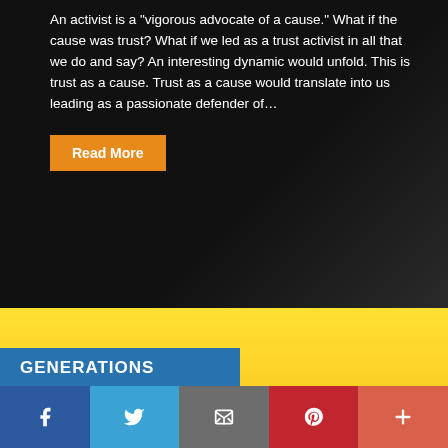An activist is a "vigorous advocate of a cause." What if the cause was trust? What if we led as a trust activist in all that we do and say? An interesting dynamic would unfold. This is trust as a cause. Trust as a cause would translate into us leading as a passionate defender of…
Read More
GENERATIONS
[Figure (illustration): Large cropped decorative text in a dark orange/brown color on a yellow-orange gradient background, partially visible letters appearing to spell something like 'shor' or similar large typographic element]